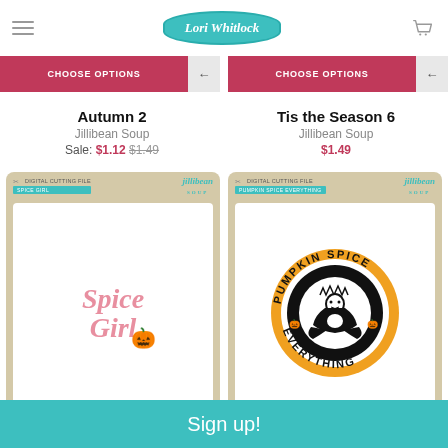Lori Whitlock
CHOOSE OPTIONS | CHOOSE OPTIONS
Autumn 2
Jillibean Soup
Sale: $1.12  $1.49
Tis the Season 6
Jillibean Soup
$1.49
[Figure (illustration): Jillibean Soup digital cutting file card showing 'Spice Girl' text in pink retro font with a small orange pumpkin illustration]
[Figure (illustration): Jillibean Soup digital cutting file card showing a circular 'Pumpkin Spice Everything' logo in orange and black, resembling a Starbucks-style badge]
Sign up!